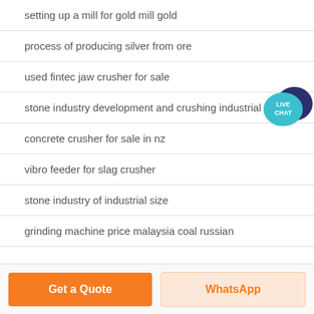setting up a mill for gold mill gold
process of producing silver from ore
used fintec jaw crusher for sale
stone industry development and crushing industrial sector
concrete crusher for sale in nz
vibro feeder for slag crusher
stone industry of industrial size
grinding machine price malaysia coal russian
[Figure (illustration): Live Chat bubble icon — teal speech bubble with dark blue chat icon and text LIVE CHAT in white]
Get a Quote
WhatsApp